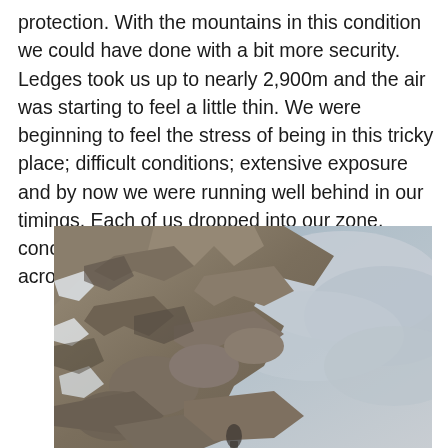protection. With the mountains in this condition we could have done with a bit more security. Ledges took us up to nearly 2,900m and the air was starting to feel a little thin. We were beginning to feel the stress of being in this tricky place; difficult conditions; extensive exposure and by now we were running well behind in our timings. Each of us dropped into our zone, concentrating on getting carefully and safely across the next patch of snow.
[Figure (photo): A rugged rocky cliff face with grey and beige tones, patches of snow visible on the left side, against a cloudy grey-blue sky background. The rock is craggy and steep, appearing to be a high-altitude mountain face.]